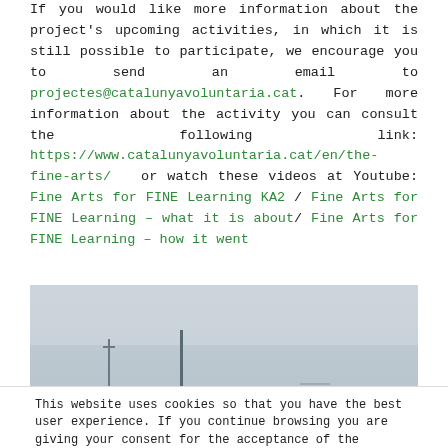If you would like more information about the project's upcoming activities, in which it is still possible to participate, we encourage you to send an email to projectes@catalunyavoluntaria.cat. For more information about the activity you can consult the following link: https://www.catalunyavoluntaria.cat/en/the-fine-arts/ or watch these videos at Youtube: Fine Arts for FINE Learning KA2 / Fine Arts for FINE Learning – what it is about/ Fine Arts for FINE Learning – how it went
[Figure (photo): A wide, hazy outdoor photo showing a pale grey sky and distant silhouettes of thin poles or antenna structures near the bottom of the image.]
This website uses cookies so that you have the best user experience. If you continue browsing you are giving your consent for the acceptance of the cookies mentioned. Read more